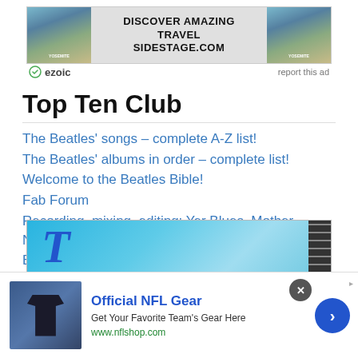[Figure (other): Advertisement banner: DISCOVER AMAZING TRAVEL SIDESTAGE.COM with mountain/Yosemite images on left and right, ezoic branding below]
Top Ten Club
The Beatles' songs – complete A-Z list!
The Beatles' albums in order – complete list!
Welcome to the Beatles Bible!
Fab Forum
Recording, mixing, editing: Yer Blues, Mother Nature's Son, Etcetera, Wild Honey Pie
The Beatles' first performance in Hamburg
[Figure (other): Partial advertisement banner with blue background and large italic T letter, with zipper-like element on right]
[Figure (other): NFL advertisement bar at bottom: Official NFL Gear - Get Your Favorite Team's Gear Here - www.nflshop.com]